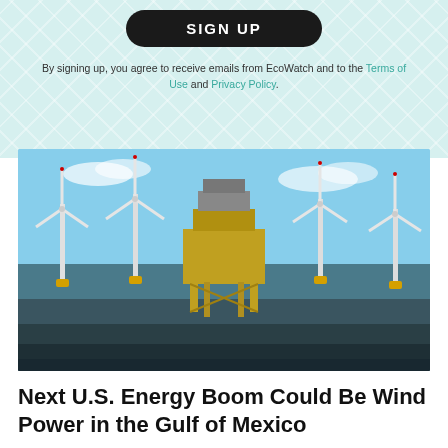SIGN UP
By signing up, you agree to receive emails from EcoWatch and to the Terms of Use and Privacy Policy.
[Figure (photo): Offshore wind turbines standing in the ocean with a service platform in the center. Blue sky with clouds above, dark ocean water in the foreground.]
Next U.S. Energy Boom Could Be Wind Power in the Gulf of Mexico